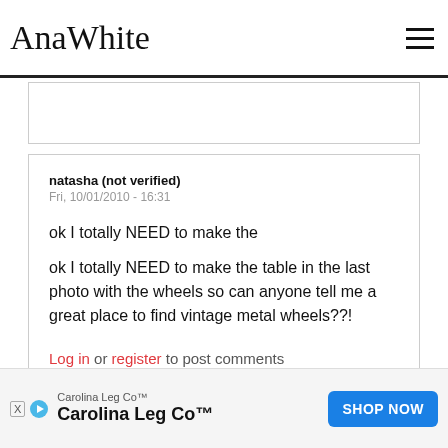AnaWhite
natasha (not verified)
Fri, 10/01/2010 - 16:31
ok I totally NEED to make the
ok I totally NEED to make the table in the last photo with the wheels so can anyone tell me a great place to find vintage metal wheels??!
Log in or register to post comments
Carolina Leg Co™
Carolina Leg Co™
SHOP NOW